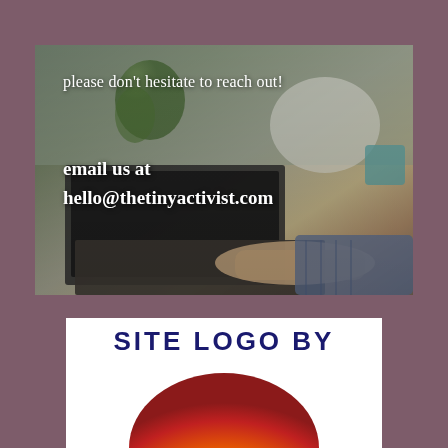[Figure (photo): Photo of hands typing on a laptop keyboard, overlaid with white text inviting contact via email]
please don't hesitate to reach out!
email us at
hello@thetinyactivist.com
[Figure (logo): Logo placeholder showing 'SITE LOGO BY' in dark navy text arced above a colorful sunset/sun circle graphic on white background]